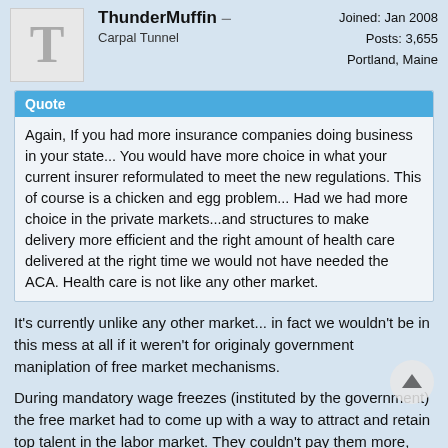ThunderMuffin — Carpal Tunnel | Joined: Jan 2008 | Posts: 3,655 | Portland, Maine
Quote
Again, If you had more insurance companies doing business in your state... You would have more choice in what your current insurer reformulated to meet the new regulations. This of course is a chicken and egg problem... Had we had more choice in the private markets...and structures to make delivery more efficient and the right amount of health care delivered at the right time we would not have needed the ACA. Health care is not like any other market.
It's currently unlike any other market... in fact we wouldn't be in this mess at all if it weren't for originaly government maniplation of free market mechanisms.
During mandatory wage freezes (instituted by the government) the free market had to come up with a way to attract and retain top talent in the labor market. They couldn't pay them more, but they could offer